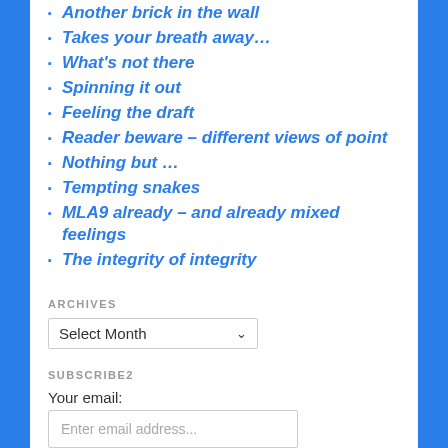Another brick in the wall
Takes your breath away…
What's not there
Spinning it out
Feeling the draft
Reader beware – different views of point
Nothing but …
Tempting snakes
MLA9 already – and already mixed feelings
The integrity of integrity
ARCHIVES
Select Month
SUBSCRIBE2
Your email:
Enter email address...
Subscribe   Unsubscribe